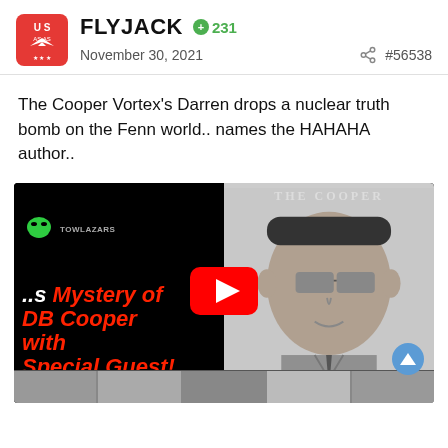FLYJACK +231 November 30, 2021 #56538
The Cooper Vortex's Darren drops a nuclear truth bomb on the Fenn world.. names the HAHAHA author..
[Figure (screenshot): YouTube video thumbnail for 'Forrest Fenn Treasure Found: Mystery of DB Cooper with Special Guest!' from Towlazar channel, showing DB Cooper sketch on right side and red text on black background on left side, with YouTube play button overlay.]